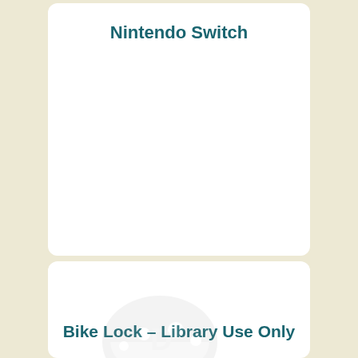Nintendo Switch
[Figure (illustration): Faint watermark-style illustration of a mushroom character (likely game-related) with a magnifying glass icon, suggesting a search or catalog interface for library items.]
Bike Lock – Library Use Only